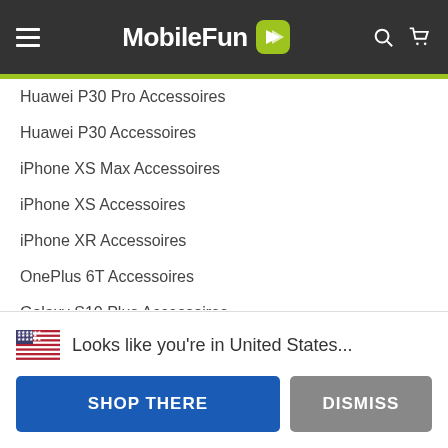MobileFun
Huawei P30 Pro Accessoires
Huawei P30 Accessoires
iPhone XS Max Accessoires
iPhone XS Accessoires
iPhone XR Accessoires
OnePlus 6T Accessoires
Galaxy S10 Plus Accessoires
Google Pixel 3a XL Accessoires
Populaire apparaten
OnePlus 7T Pro
Samsung Galaxy S10 5G
Huawei P30
🇺🇸 Looks like you're in United States...
SHOP THERE
DISMISS